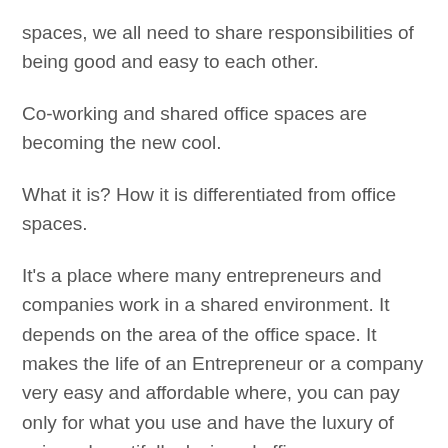spaces, we all need to share responsibilities of being good and easy to each other.
Co-working and shared office spaces are becoming the new cool.
What it is? How it is differentiated from office spaces.
It's a place where many entrepreneurs and companies work in a shared environment. It depends on the area of the office space. It makes the life of an Entrepreneur or a company very easy and affordable where, you can pay only for what you use and have the luxury of using a beautifully designed office space.
These setups are blessings for the startups. Its cost-effective and let's you focus on the idea and the business. You also get a chance to interact with co-workers on different opportunities and build contacts which will some or the other way help you in your business. You can use this space to network and grow.